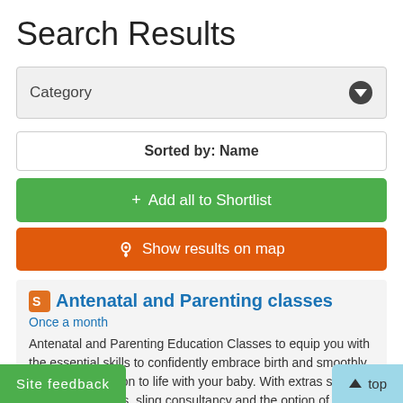Search Results
Category
Sorted by: Name
+ Add all to Shortlist
Show results on map
Antenatal and Parenting classes
Once a month
Antenatal and Parenting Education Classes to equip you with the essential skills to confidently embrace birth and smoothly make the transition to life with your baby. With extras such as real nappy demos, sling consultancy and the option of an 'add on' paediatric
shire, OX17 2DH
Site feedback
top